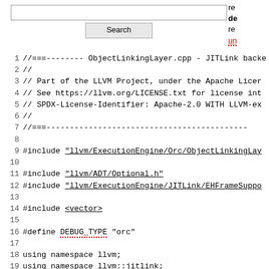[Figure (screenshot): Search input box with Search button and right-side navigation text]
1 //===-------- ObjectLinkingLayer.cpp - JITLink backe
2 //
3 // Part of the LLVM Project, under the Apache Licer
4 // See https://llvm.org/LICENSE.txt for license int
5 // SPDX-License-Identifier: Apache-2.0 WITH LLVM-ex
6 //
7 //===--------------------------------------------------
8
9 #include "llvm/ExecutionEngine/Orc/ObjectLinkingLay
10
11 #include "llvm/ADT/Optional.h"
12 #include "llvm/ExecutionEngine/JITLink/EHFrameSuppo
13
14 #include <vector>
15
16 #define DEBUG_TYPE "orc"
17
18 using namespace llvm;
19 using namespace llvm::jitlink;
20 using namespace llvm::orc;
21
22 namespace llvm {